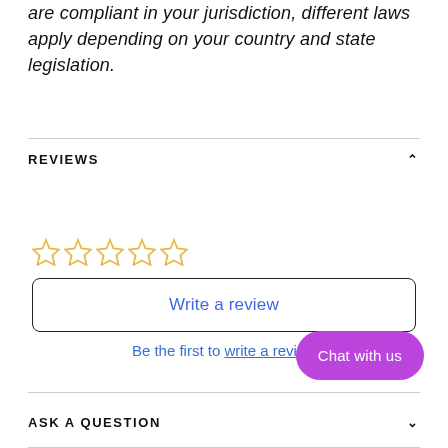are compliant in your jurisdiction, different laws apply depending on your country and state legislation.
REVIEWS
[Figure (other): Five empty star rating icons in gold/yellow outline]
Write a review
Be the first to write a review
[Figure (other): Purple chat button with text 'Chat with us']
ASK A QUESTION